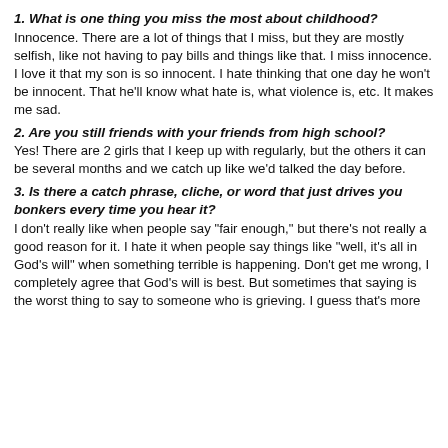1. What is one thing you miss the most about childhood?
Innocence. There are a lot of things that I miss, but they are mostly selfish, like not having to pay bills and things like that. I miss innocence. I love it that my son is so innocent. I hate thinking that one day he won't be innocent. That he'll know what hate is, what violence is, etc. It makes me sad.
2. Are you still friends with your friends from high school?
Yes! There are 2 girls that I keep up with regularly, but the others it can be several months and we catch up like we'd talked the day before.
3. Is there a catch phrase, cliche, or word that just drives you bonkers every time you hear it?
I don't really like when people say "fair enough," but there's not really a good reason for it. I hate it when people say things like "well, it's all in God's will" when something terrible is happening. Don't get me wrong, I completely agree that God's will is best. But sometimes that saying is the worst thing to say to someone who is grieving. I guess that's more